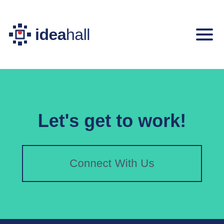[Figure (logo): ideahall logo with crosshair icon in navy blue and red dot, followed by text 'ideahall' in navy blue]
Let's get to work!
Connect With Us